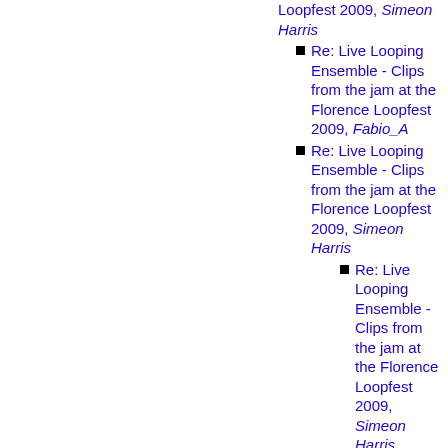Re: Live Looping Ensemble - Clips from the jam at the Florence Loopfest 2009, Simeon Harris
Re: Live Looping Ensemble - Clips from the jam at the Florence Loopfest 2009, Fabio_A
Re: Live Looping Ensemble - Clips from the jam at the Florence Loopfest 2009, Simeon Harris
Re: Live Looping Ensemble - Clips from the jam at the Florence Loopfest 2009, Simeon Harris
Re: